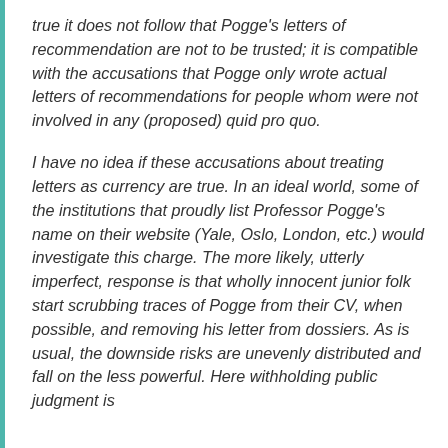true it does not follow that Pogge's letters of recommendation are not to be trusted; it is compatible with the accusations that Pogge only wrote actual letters of recommendations for people whom were not involved in any (proposed) quid pro quo.
I have no idea if these accusations about treating letters as currency are true. In an ideal world, some of the institutions that proudly list Professor Pogge's name on their website (Yale, Oslo, London, etc.) would investigate this charge. The more likely, utterly imperfect, response is that wholly innocent junior folk start scrubbing traces of Pogge from their CV, when possible, and removing his letter from dossiers. As is usual, the downside risks are unevenly distributed and fall on the less powerful. Here withholding public judgment is